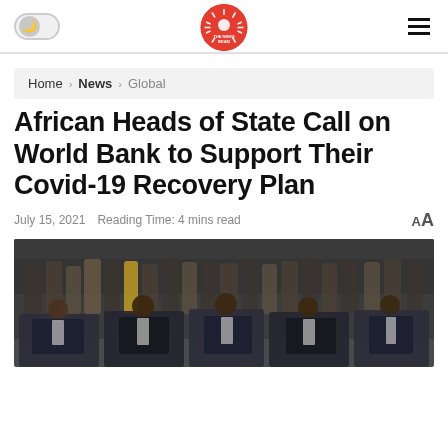The News Beam — header with toggle, logo, hamburger menu
Home > News > Global
African Heads of State Call on World Bank to Support Their Covid-19 Recovery Plan
July 15, 2021   Reading Time: 4 mins read   AA
[Figure (photo): Group photo of African heads of state and officials seated and standing in formal attire]